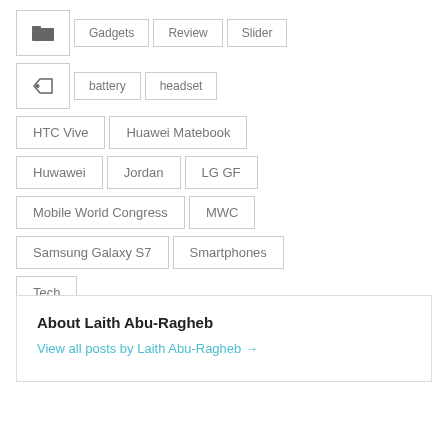[folder icon] Gadgets Review Slider
[tag icon] battery headset
HTC Vive Huawei Matebook
Huwawei Jordan LG GF
Mobile World Congress MWC
Samsung Galaxy S7 Smartphones
Tech
About Laith Abu-Ragheb
View all posts by Laith Abu-Ragheb →